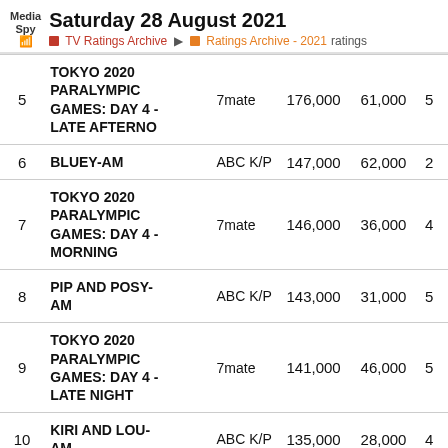Saturday 28 August 2021 — TV Ratings Archive › Ratings Archive - 2021 ratings
| # | Show | Channel | Total | Metro |  |
| --- | --- | --- | --- | --- | --- |
| 5 | TOKYO 2020 PARALYMPIC GAMES: DAY 4 - LATE AFTERNO | 7mate | 176,000 | 61,000 | 5 |
| 6 | BLUEY-AM | ABC K/P | 147,000 | 62,000 | 2 |
| 7 | TOKYO 2020 PARALYMPIC GAMES: DAY 4 - MORNING | 7mate | 146,000 | 36,000 | 4 |
| 8 | PIP AND POSY-AM | ABC K/P | 143,000 | 31,000 | 5 |
| 9 | TOKYO 2020 PARALYMPIC GAMES: DAY 4 - LATE NIGHT | 7mate | 141,000 | 46,000 | 5 |
| 10 | KIRI AND LOU-AM | ABC K/P | 135,000 | 28,000 | 4 |